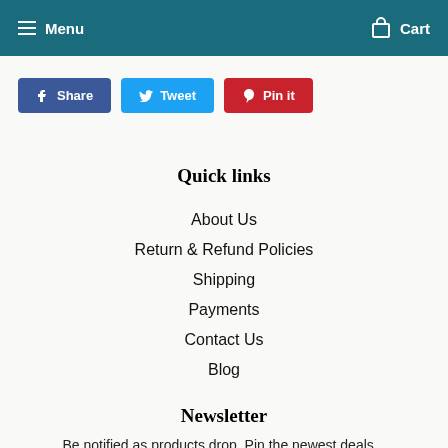Menu   Cart
Share
Tweet
Pin it
Quick links
About Us
Return & Refund Policies
Shipping
Payments
Contact Us
Blog
Newsletter
Be notified as products drop. Pin the newest deals...